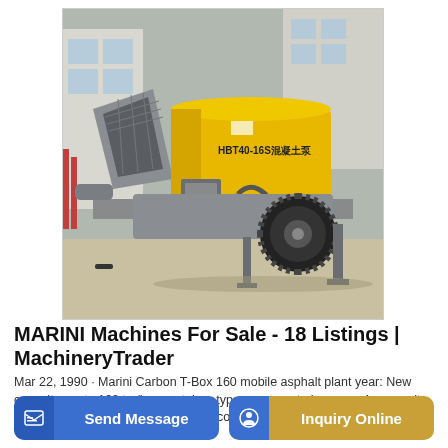[Figure (photo): Yellow and grey HBT40-16S concrete pump (trailer-mounted) photographed outdoors in a yard. The machine has a large hopper on the left, yellow body housing with Chinese text and model label, hydraulic hoses, and a large black rubber tire on the right side. Grey metal frame and legs support the unit.]
MARINI Machines For Sale - 18 Listings | MachineryTrader
Mar 22, 1990 · Marini Carbon T-Box 160 mobile asphalt plant year: New capacity: up to 160 to./h. - container type - aggregate hoppers: 4 - capacity of one hopper: 10 m3 - drying drum: counterflow - bur
Send Message
Inquiry Online